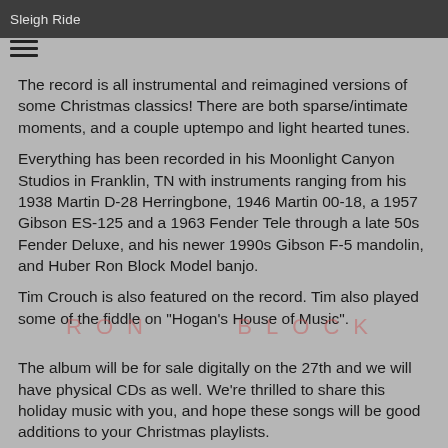Sleigh Ride
The record is all instrumental and reimagined versions of some Christmas classics! There are both sparse/intimate moments, and a couple uptempo and light hearted tunes.
Everything has been recorded in his Moonlight Canyon Studios in Franklin, TN with instruments ranging from his 1938 Martin D-28 Herringbone, 1946 Martin 00-18, a 1957 Gibson ES-125 and a 1963 Fender Tele through a late 50s Fender Deluxe, and his newer 1990s Gibson F-5 mandolin, and Huber Ron Block Model banjo.
Tim Crouch is also featured on the record. Tim also played some of the fiddle on "Hogan's House of Music".
[Figure (other): Watermark text reading RON BLOCK in light red/pink letters]
The album will be for sale digitally on the 27th and we will have physical CDs as well. We're thrilled to share this holiday music with you, and hope these songs will be good additions to your Christmas playlists.